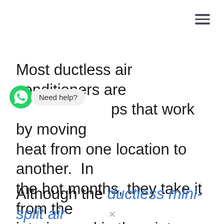[Figure (other): Hamburger menu icon (three horizontal lines) in top right corner]
Most ductless air conditioners are [heat] pumps that work by moving heat from one location to another. In the hot months, they take it from the interior, and in the winter, they extract it from the outdoors and bring in the room. Their specific advantages include:
[Figure (other): WhatsApp chat widget showing green WhatsApp icon and 'Need help?' bubble]
Although the ductless mini-split air